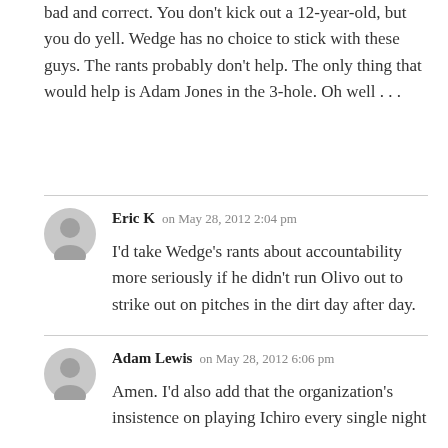bad and correct. You don't kick out a 12-year-old, but you do yell. Wedge has no choice to stick with these guys. The rants probably don't help. The only thing that would help is Adam Jones in the 3-hole. Oh well . . .
Eric K on May 28, 2012 2:04 pm
I'd take Wedge's rants about accountability more seriously if he didn't run Olivo out to strike out on pitches in the dirt day after day.
Adam Lewis on May 28, 2012 6:06 pm
Amen. I'd also add that the organization's insistence on playing Ichiro every single night